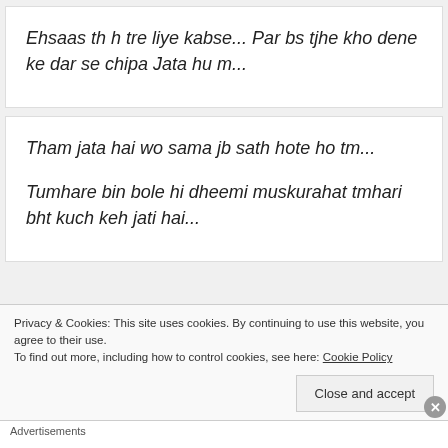Ehsaas th h tre liye kabse... Par bs tjhe kho dene ke dar se chipa Jata hu m...
Tham jata hai wo sama jb sath hote ho tm...
Tumhare bin bole hi dheemi muskurahat tmhari bht kuch keh jati hai...
Privacy & Cookies: This site uses cookies. By continuing to use this website, you agree to their use.
To find out more, including how to control cookies, see here: Cookie Policy
Close and accept
Advertisements